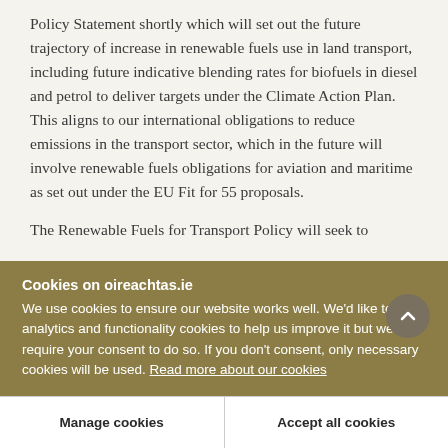Policy Statement shortly which will set out the future trajectory of increase in renewable fuels use in land transport, including future indicative blending rates for biofuels in diesel and petrol to deliver targets under the Climate Action Plan. This aligns to our international obligations to reduce emissions in the transport sector, which in the future will involve renewable fuels obligations for aviation and maritime as set out under the EU Fit for 55 proposals.
The Renewable Fuels for Transport Policy will seek to
Cookies on oireachtas.ie
We use cookies to ensure our website works well. We'd like to use analytics and functionality cookies to help us improve it but we require your consent to do so. If you don't consent, only necessary cookies will be used. Read more about our cookies
Manage cookies
Accept all cookies